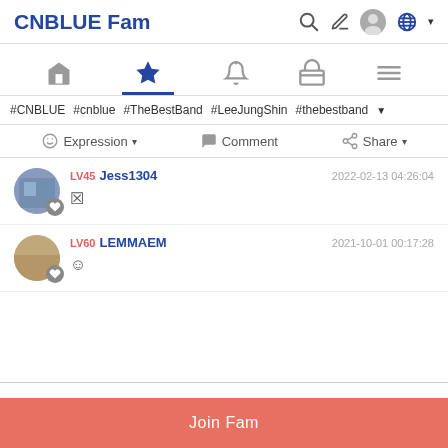CNBLUE Fam
#CNBLUE #cnblue #TheBestBand #LeeJungShin #thebestband
Expression  Comment  Share
LV45 Jess1304  2022-02-13 04:26:04
LV60 LEMMAEM  2021-10-01 00:17:28
Join Fam